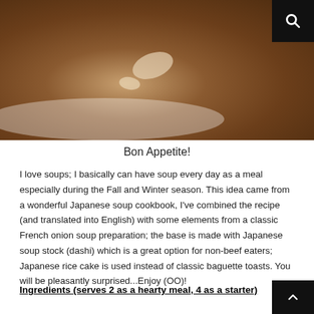[Figure (photo): Close-up photo of a Japanese-French onion soup in a white bowl, showing a dark brown broth with a melted cheese/rice cake topping, golden-brown crust visible]
Bon Appetite!
I love soups; I basically can have soup every day as a meal especially during the Fall and Winter season. This idea came from a wonderful Japanese soup cookbook, I've combined the recipe (and translated into English) with some elements from a classic French onion soup preparation; the base is made with Japanese soup stock (dashi) which is a great option for non-beef eaters; Japanese rice cake is used instead of classic baguette toasts. You will be pleasantly surprised...Enjoy (OO)!
Ingredients (serves 2 as a hearty meal, 4 as a starter)